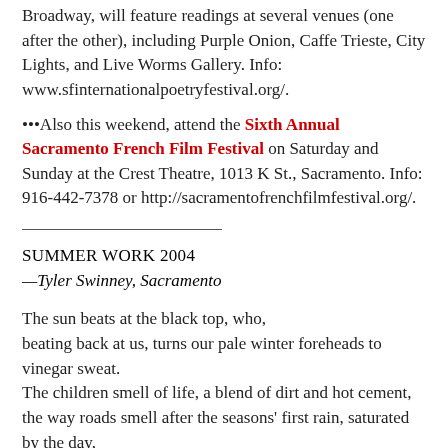Broadway, will feature readings at several venues (one after the other), including Purple Onion, Caffe Trieste, City Lights, and Live Worms Gallery. Info: www.sfinternationalpoetryfestival.org/.
•••Also this weekend, attend the Sixth Annual Sacramento French Film Festival on Saturday and Sunday at the Crest Theatre, 1013 K St., Sacramento. Info: 916-442-7378 or http://sacramentofrenchfilmfestival.org/.
SUMMER WORK 2004
—Tyler Swinney, Sacramento
The sun beats at the black top, who,
beating back at us, turns our pale winter foreheads to vinegar sweat.
The children smell of life, a blend of dirt and hot cement,
the way roads smell after the seasons' first rain, saturated by the day,
rich and deep, they scream, in fear, in hate, in love, with everything,